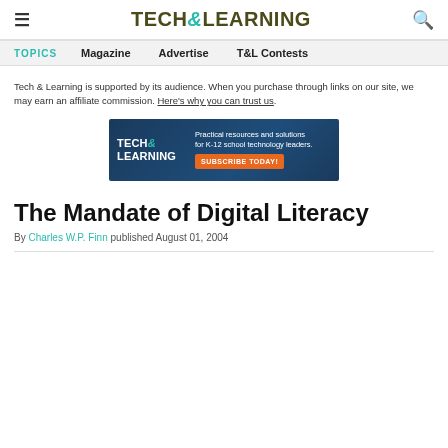TECH&LEARNING
TOPICS  Magazine  Advertise  T&L Contests
Tech & Learning is supported by its audience. When you purchase through links on our site, we may earn an affiliate commission. Here's why you can trust us.
[Figure (screenshot): Tech & Learning advertisement banner: dark blue background with TECH& LEARNING logo on left, text 'Practical resources and solutions for K-12 school technology leaders.' on right, and orange 'SUBSCRIBE TODAY!' button]
The Mandate of Digital Literacy
By Charles W.P. Finn published August 01, 2004